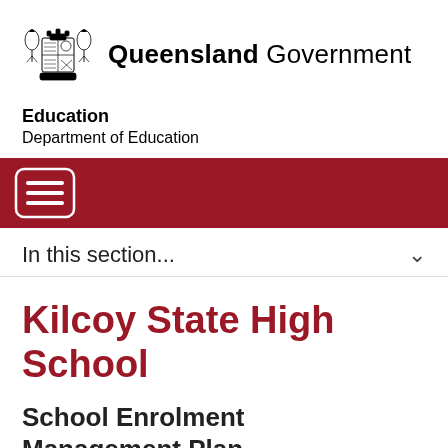[Figure (logo): Queensland Government coat of arms logo with griffins and shield, followed by bold 'Queensland Government' text]
Education
Department of Education
[Figure (other): Dark red navigation bar with hamburger menu icon (three horizontal lines in a rounded rectangle)]
In this section...
Kilcoy State High School
School Enrolment Management Plan
Kilcoy State High School [external link] recognises as its prime